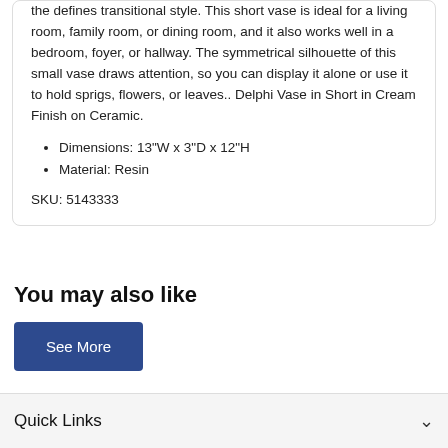the defines transitional style. This short vase is ideal for a living room, family room, or dining room, and it also works well in a bedroom, foyer, or hallway. The symmetrical silhouette of this small vase draws attention, so you can display it alone or use it to hold sprigs, flowers, or leaves.. Delphi Vase in Short in Cream Finish on Ceramic.
Dimensions: 13"W x 3"D x 12"H
Material: Resin
SKU: 5143333
You may also like
See More
Quick Links